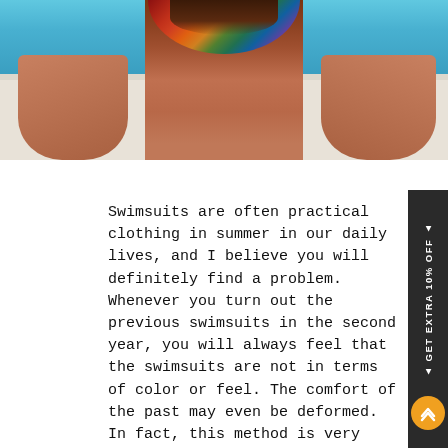[Figure (photo): Woman in colorful swimsuit at a swimming pool edge, viewed from above, hands resting on pool deck]
Swimsuits are often practical clothing in summer in our daily lives, and I believe you will definitely find a problem. Whenever you turn out the previous swimsuits in the second year, you will always feel that the swimsuits are not in terms of color or feel. The comfort of the past may even be deformed. In fact, this method is very easy to solve. The first point is to choose the most suitable fabric when choosing a swimsuit. You will be 90% successful! The second